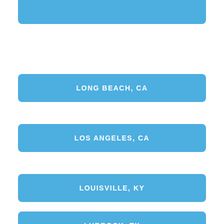LONG BEACH, CA
LOS ANGELES, CA
LOUISVILLE, KY
LUBBOCK, TX